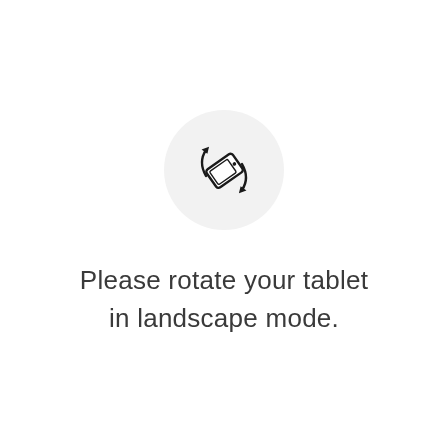[Figure (illustration): A circular light-gray background containing a rotate/orientation icon: a tablet device drawn at a diagonal angle with two curved arrows around it indicating rotation to landscape mode.]
Please rotate your tablet in landscape mode.